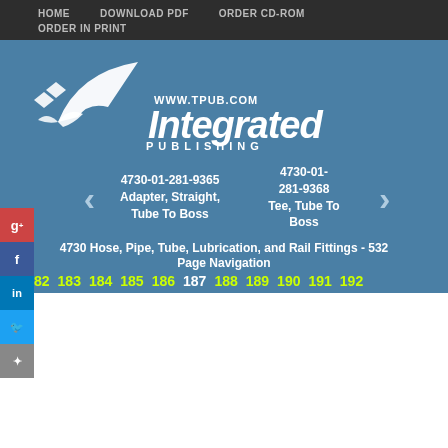HOME   DOWNLOAD PDF   ORDER CD-ROM   ORDER IN PRINT
[Figure (logo): Integrated Publishing logo with bird graphic and WWW.TPUB.COM URL]
4730-01-281-9365 Adapter, Straight, Tube To Boss
4730-01-281-9368 Tee, Tube To Boss
4730 Hose, Pipe, Tube, Lubrication, and Rail Fittings - 532
Page Navigation
182 183 184 185 186 187 188 189 190 191 192